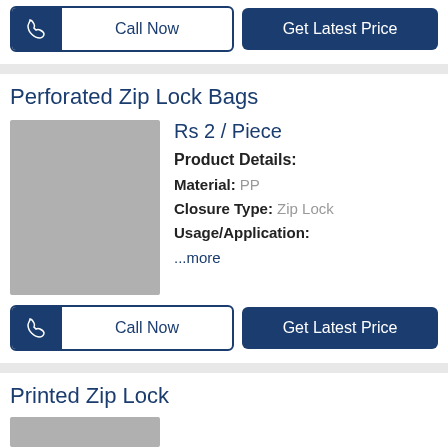[Figure (other): Call Now and Get Latest Price buttons at top]
Perforated Zip Lock Bags
[Figure (photo): Grey placeholder image for Perforated Zip Lock Bags product]
Rs 2 / Piece
Product Details:
Material: PP
Closure Type: Zip Lock
Usage/Application:
...more
[Figure (other): Call Now and Get Latest Price buttons below product]
Printed Zip Lock
[Figure (photo): Grey placeholder image for Printed Zip Lock product (partially visible)]